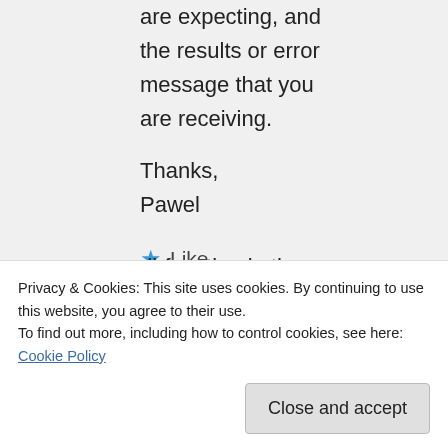are expecting, and the results or error message that you are receiving.
Thanks,
Pawel
★ Like
James Hancock on
dbfunction in the
Privacy & Cookies: This site uses cookies. By continuing to use this website, you agree to their use.
To find out more, including how to control cookies, see here: Cookie Policy
Close and accept